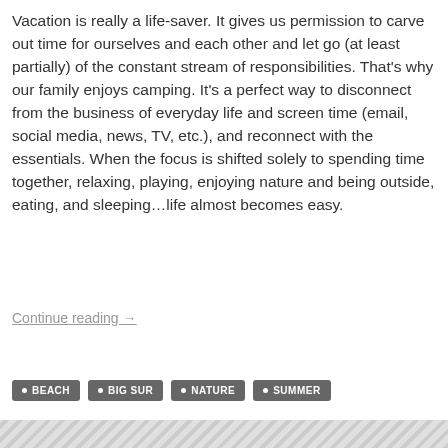Vacation is really a life-saver. It gives us permission to carve out time for ourselves and each other and let go (at least partially) of the constant stream of responsibilities. That's why our family enjoys camping. It's a perfect way to disconnect from the business of everyday life and screen time (email, social media, news, TV, etc.), and reconnect with the essentials. When the focus is shifted solely to spending time together, relaxing, playing, enjoying nature and being outside, eating, and sleeping…life almost becomes easy.
Continue reading →
• BEACH
• BIG SUR
• NATURE
• SUMMER